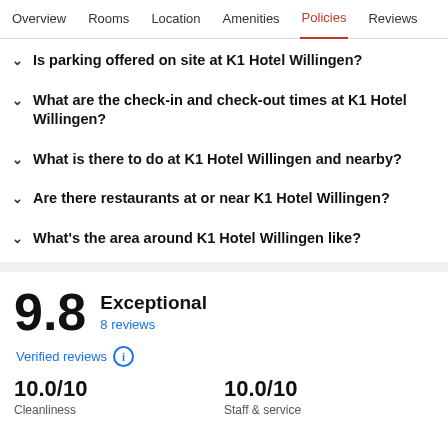Overview   Rooms   Location   Amenities   Policies   Reviews
Is parking offered on site at K1 Hotel Willingen?
What are the check-in and check-out times at K1 Hotel Willingen?
What is there to do at K1 Hotel Willingen and nearby?
Are there restaurants at or near K1 Hotel Willingen?
What's the area around K1 Hotel Willingen like?
9.8
Exceptional
8 reviews
Verified reviews
10.0/10 Cleanliness
10.0/10 Staff & service